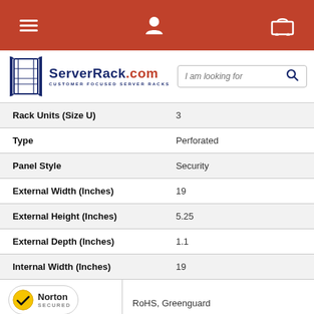[Figure (screenshot): Navigation bar with hamburger menu, user icon, and cart icon on red background]
[Figure (logo): ServerRack.com logo with blue rack image and search box]
| Specification | Value |
| --- | --- |
| Rack Units (Size U) | 3 |
| Type | Perforated |
| Panel Style | Security |
| External Width (Inches) | 19 |
| External Height (Inches) | 5.25 |
| External Depth (Inches) | 1.1 |
| Internal Width (Inches) | 19 |
| Certifications | RoHS, Greenguard |
| Color | Black |
[Figure (logo): Norton Secured powered by Symantec badge]